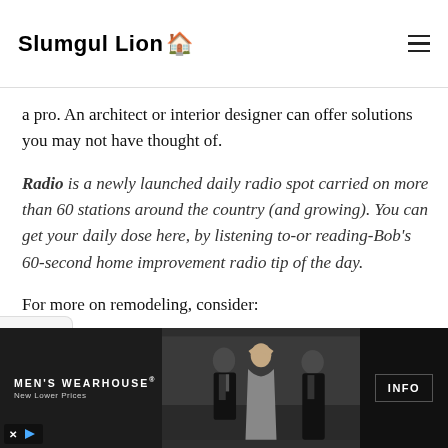Slumgul Lion 🏠
a pro. An architect or interior designer can offer solutions you may not have thought of.
Radio is a newly launched daily radio spot carried on more than 60 stations around the country (and growing). You can get your daily dose here, by listening to-or reading-Bob's 60-second home improvement radio tip of the day.
For more on remodeling, consider:
[Figure (photo): Men's Wearhouse advertisement banner with formalwear models and Info button]